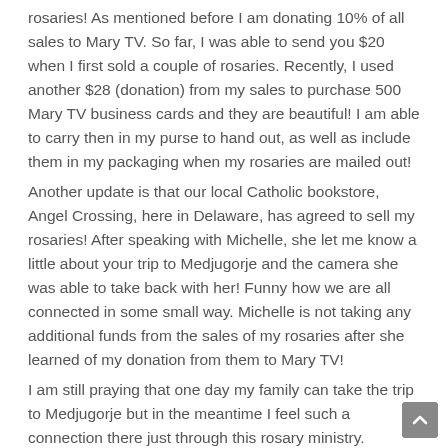rosaries! As mentioned before I am donating 10% of all sales to Mary TV. So far, I was able to send you $20 when I first sold a couple of rosaries. Recently, I used another $28 (donation) from my sales to purchase 500 Mary TV business cards and they are beautiful! I am able to carry then in my purse to hand out, as well as include them in my packaging when my rosaries are mailed out!
Another update is that our local Catholic bookstore, Angel Crossing, here in Delaware, has agreed to sell my rosaries! After speaking with Michelle, she let me know a little about your trip to Medjugorje and the camera she was able to take back with her! Funny how we are all connected in some small way. Michelle is not taking any additional funds from the sales of my rosaries after she learned of my donation from them to Mary TV!
I am still praying that one day my family can take the trip to Medjugorje but in the meantime I feel such a connection there just through this rosary ministry.
Please keep my family and this ministry in your prayers. I continue to pray for you and Mary TV as well and am so thankful for all you do for all of us each day just by showing up!
Much love and blessings,